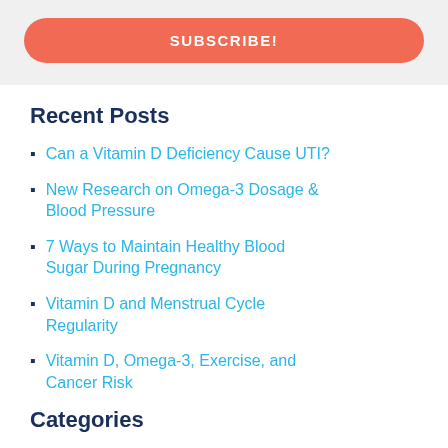[Figure (other): Subscribe button with coral/red-orange background and white bold text reading SUBSCRIBE! on a light gray background panel]
Recent Posts
Can a Vitamin D Deficiency Cause UTI?
New Research on Omega-3 Dosage & Blood Pressure
7 Ways to Maintain Healthy Blood Sugar During Pregnancy
Vitamin D and Menstrual Cycle Regularity
Vitamin D, Omega-3, Exercise, and Cancer Risk
Categories